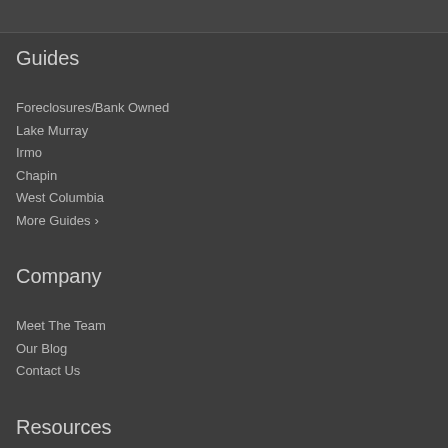Guides
Foreclosures/Bank Owned
Lake Murray
Irmo
Chapin
West Columbia
More Guides >
Company
Meet The Team
Our Blog
Contact Us
Resources
Buy a Home
Sell Your Home